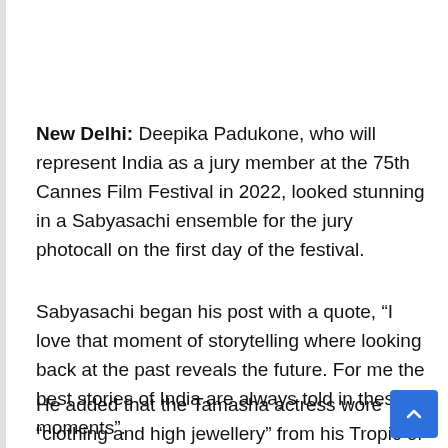New Delhi: Deepika Padukone, who will represent India as a jury member at the 75th Cannes Film Festival in 2022, looked stunning in a Sabyasachi ensemble for the jury photocall on the first day of the festival.
Sabyasachi began his post with a quote, “I love that moment of storytelling where looking back at the past reveals the future. For me the best stories of India are always told in these moments”.
He added that the Tamasha actress wore “clothing and high jewellery” from his Tropic of Calcutta collection “the global resort series